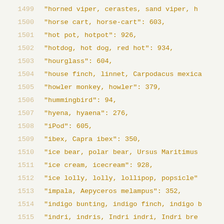1499    "horned viper, cerastes, sand viper, h...
1500    "horse cart, horse-cart": 603,
1501    "hot pot, hotpot": 926,
1502    "hotdog, hot dog, red hot": 934,
1503    "hourglass": 604,
1504    "house finch, linnet, Carpodacus mexica...
1505    "howler monkey, howler": 379,
1506    "hummingbird": 94,
1507    "hyena, hyaena": 276,
1508    "iPod": 605,
1509    "ibex, Capra ibex": 350,
1510    "ice bear, polar bear, Ursus Maritimus...
1511    "ice cream, icecream": 928,
1512    "ice lolly, lolly, lollipop, popsicle"...
1513    "impala, Aepyceros melampus": 352,
1514    "indigo bunting, indigo finch, indigo b...
1515    "indri, indris, Indri indri, Indri bre...
1516    "iron, smoothing iron": 606,
1517    "isopod": 126,
1518    "jacamar": 95,